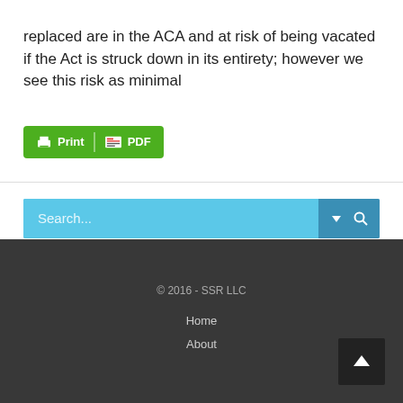replaced are in the ACA and at risk of being vacated if the Act is struck down in its entirety; however we see this risk as minimal
[Figure (other): Green Print/PDF button with printer icon and PDF icon]
[Figure (other): Search bar with light blue background, chevron and magnifying glass icons on right]
© 2016 - SSR LLC
Home
About